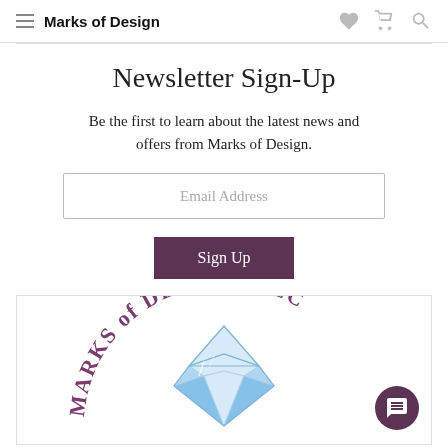Marks of Design
Newsletter Sign-Up
Be the first to learn about the latest news and offers from Marks of Design.
[Figure (screenshot): Email Address input field placeholder text]
[Figure (screenshot): Sign Up button with purple background]
[Figure (logo): Marks of Design LLC logo with diamond gemstone and arched text in purple]